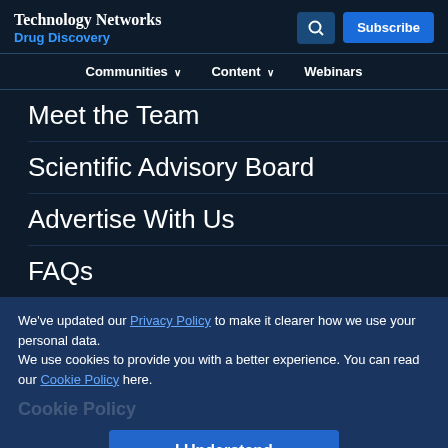Technology Networks Drug Discovery
Communities  Content  Webinars
Meet the Team
Scientific Advisory Board
Advertise With Us
FAQs
We've updated our Privacy Policy to make it clearer how we use your personal data.
We use cookies to provide you with a better experience. You can read our Cookie Policy here.
Cookie Policy
I Understand
Advertisement
[Figure (photo): Somalogic advertisement banner: Pioneer with 7,000 proteins]